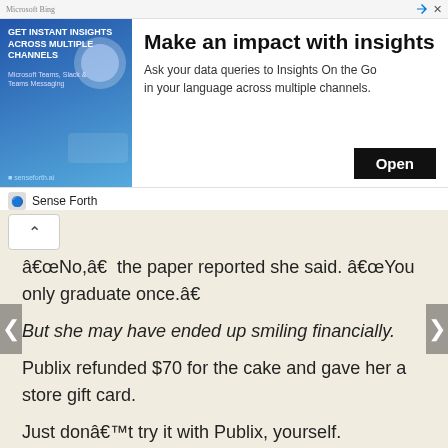[Figure (other): Advertisement banner: 'Make an impact with insights' by Sense Forth, with Open button]
“No,” the paper reported she said. “You only graduate once.”
But she may have ended up smiling financially.
Publix refunded $70 for the cake and gave her a store gift card.
Just don’t try it with Publix, yourself.
The Post wrote it “replicated her experience and got the same result.”
[Figure (other): Thumbnail image labeled 'publix cake form']